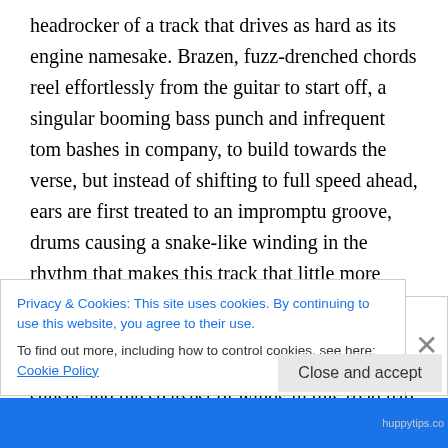headrocker of a track that drives as hard as its engine namesake. Brazen, fuzz-drenched chords reel effortlessly from the guitar to start off, a singular booming bass punch and infrequent tom bashes in company, to build towards the verse, but instead of shifting to full speed ahead, ears are first treated to an impromptu groove, drums causing a snake-like winding in the rhythm that makes this track that little more thrilling. Groove does eventually concede to forward motion, and with the wall of fuzz now conducting traffic, you can feel the scorch of sunset and the sparsest of winds in this road trip narrative, as soaring vocal
Privacy & Cookies: This site uses cookies. By continuing to use this website, you agree to their use.
To find out more, including how to control cookies, see here: Cookie Policy